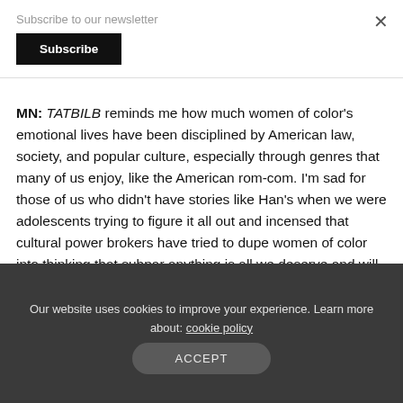Subscribe to our newsletter
Subscribe
×
MN: TATBILB reminds me how much women of color's emotional lives have been disciplined by American law, society, and popular culture, especially through genres that many of us enjoy, like the American rom-com. I'm sad for those of us who didn't have stories like Han's when we were adolescents trying to figure it all out and incensed that cultural power brokers have tried to dupe women of color into thinking that subpar anything is all we deserve and will ever get. I certainly internalized some of t...
Our website uses cookies to improve your experience. Learn more about: cookie policy
ACCEPT